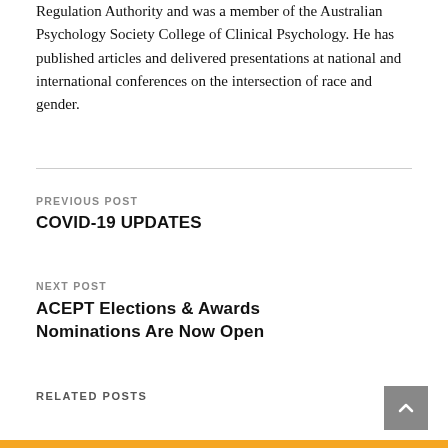Regulation Authority and was a member of the Australian Psychology Society College of Clinical Psychology. He has published articles and delivered presentations at national and international conferences on the intersection of race and gender.
PREVIOUS POST
COVID-19 UPDATES
NEXT POST
ACEPT Elections & Awards Nominations Are Now Open
RELATED POSTS